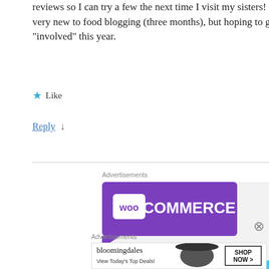reviews so I can try a few the next time I visit my sisters! I'm very new to food blogging (three months), but hoping to get “involved” this year.
★ Like
Reply ↓
[Figure (other): WooCommerce advertisement banner: purple header with WooCommerce logo and text 'How to start selling']
[Figure (other): Bloomingdale's advertisement: 'View Today's Top Deals!' with SHOP NOW button]